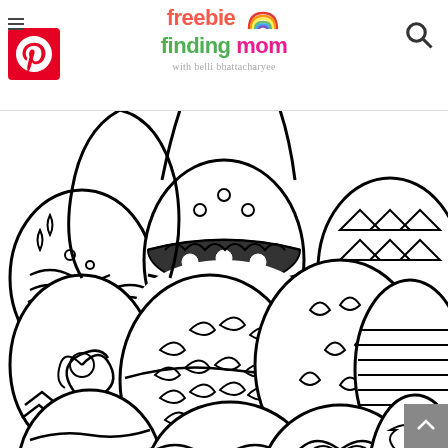freebie finding mom with belli bhattacharyee
[Figure (illustration): Easter egg coloring page featuring multiple decorative Easter eggs with various patterns including swirls, stripes, dots, leaves, triangles, zigzags, and floral designs, shown as a black and white line drawing coloring page.]